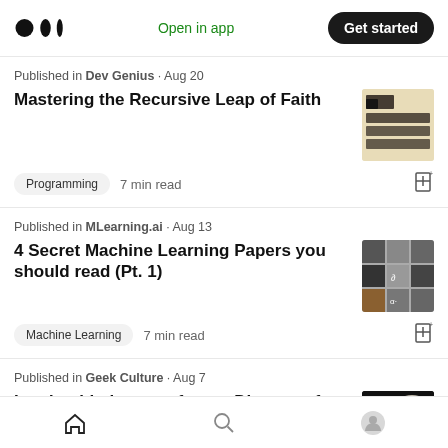Medium — Open in app · Get started
Published in Dev Genius · Aug 20
Mastering the Recursive Leap of Faith
Programming  7 min read
Published in MLearning.ai · Aug 13
4 Secret Machine Learning Papers you should read (Pt. 1)
Machine Learning  7 min read
Published in Geek Culture · Aug 7
Leadership lessons from a Director of
Home  Search  Profile